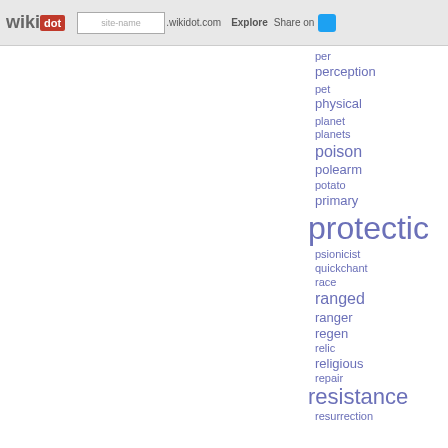wikidot | site-name .wikidot.com | Explore | Share on
per
perception
pet
physical
planet
planets
poison
polearm
potato
primary
protectic
psionicist
quickchant
race
ranged
ranger
regen
relic
religious
repair
resistance
resurrection
rune
runic
runic-warrior
scroll